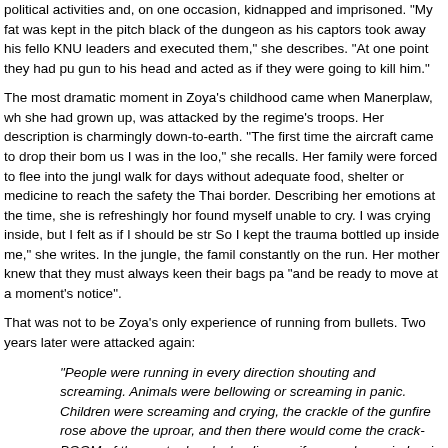political activities and, on one occasion, kidnapped and imprisoned. "My fat was kept in the pitch black of the dungeon as his captors took away his fello KNU leaders and executed them," she describes. "At one point they had pu gun to his head and acted as if they were going to kill him."
The most dramatic moment in Zoya's childhood came when Manerplaw, wh she had grown up, was attacked by the regime's troops. Her description is charmingly down-to-earth. "The first time the aircraft came to drop their bom us I was in the loo," she recalls. Her family were forced to flee into the jungl walk for days without adequate food, shelter or medicine to reach the safety the Thai border. Describing her emotions at the time, she is refreshingly hor found myself unable to cry. I was crying inside, but I felt as if I should be str So I kept the trauma bottled up inside me," she writes. In the jungle, the famil constantly on the run. Her mother knew that they must always keen their bags pa "and be ready to move at a moment's notice".
That was not to be Zoya's only experience of running from bullets. Two years later were attacked again:
"People were running in every direction shouting and screaming. Animals were bellowing or screaming in panic. Children were screaming and crying, the crackle of the gunfire rose above the uproar, and then there would come the crack-BOOM of the mortar bombs landing, as if every glass window in the world had been shattered at once .... The dust got so bad it was almost like night. I couldn't breathe. I couldn't see. my legs